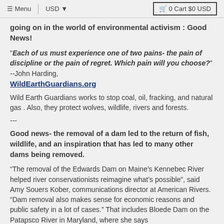Menu | USD ▾ | 🛒 0 Cart $0 USD
going on in the world of environmental activism : Good News!
"Each of us must experience one of two pains- the pain of discipline or the pain of regret. Which pain will you choose?" --John Harding, WildEarthGuardians.org
Wild Earth Guardians works to stop coal, oil, fracking, and natural gas . Also, they protect wolves, wildlife, rivers and forests.
---
Good news- the removal of a dam led to the return of fish, wildlife, and an inspiration that has led to many other dams being removed.
“The removal of the Edwards Dam on Maine’s Kennebec River helped river conservationists reimagine what’s possible”, said Amy Souers Kober, communications director at American Rivers. “Dam removal also makes sense for economic reasons and public safety in a lot of cases.” That includes Bloede Dam on the Patapsco River in Maryland, where she says